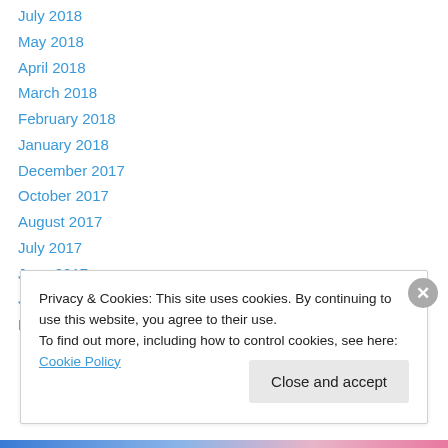July 2018
May 2018
April 2018
March 2018
February 2018
January 2018
December 2017
October 2017
August 2017
July 2017
June 2017
January 2017
December 2016
Privacy & Cookies: This site uses cookies. By continuing to use this website, you agree to their use. To find out more, including how to control cookies, see here: Cookie Policy
Close and accept